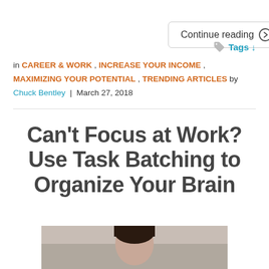Continue reading →
in CAREER & WORK , INCREASE YOUR INCOME , MAXIMIZING YOUR POTENTIAL , TRENDING ARTICLES by Chuck Bentley | March 27, 2018
Tags ↓
Can't Focus at Work? Use Task Batching to Organize Your Brain
[Figure (photo): Partial photo of a person at bottom of page]